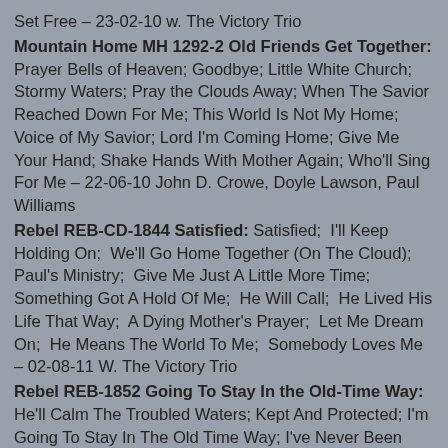Set Free – 23-02-10 w. The Victory Trio
Mountain Home MH 1292-2 Old Friends Get Together: Prayer Bells of Heaven; Goodbye; Little White Church; Stormy Waters; Pray the Clouds Away; When The Savior Reached Down For Me; This World Is Not My Home; Voice of My Savior; Lord I'm Coming Home; Give Me Your Hand; Shake Hands With Mother Again; Who'll Sing For Me – 22-06-10 John D. Crowe, Doyle Lawson, Paul Williams
Rebel REB-CD-1844 Satisfied: Satisfied; I'll Keep Holding On; We'll Go Home Together (On The Cloud); Paul's Ministry; Give Me Just A Little More Time; Something Got A Hold Of Me; He Will Call; He Lived His Life That Way; A Dying Mother's Prayer; Let Me Dream On; He Means The World To Me; Somebody Loves Me – 02-08-11 W. The Victory Trio
Rebel REB-1852 Going To Stay In the Old-Time Way: He'll Calm The Troubled Waters; Kept And Protected; I'm Going To Stay In The Old Time Way; I've Never Been This Homesick Before; Grave Cannot Hold Me; You've Got To Keep Walking; Sometimes I Think I Hear Singing; Help Me Lord; It's All Up To You; Vision; Miracle Man; What A Time In Heaven – 31-07-12 w. The Victory Trio